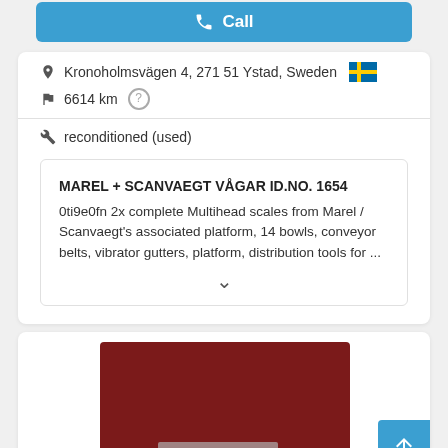Call
Kronoholmsvägen 4, 271 51 Ystad, Sweden 🇸🇪
6614 km ?
reconditioned (used)
MAREL + SCANVAEGT VÅGAR ID.NO. 1654
0ti9e0fn 2x complete Multihead scales from Marel / Scanvaegt's associated platform, 14 bowls, conveyor belts, vibrator gutters, platform, distribution tools for ...
[Figure (screenshot): Bottom portion of a product listing page with a 'Save search query' button and a product image with dark red background]
Save search query